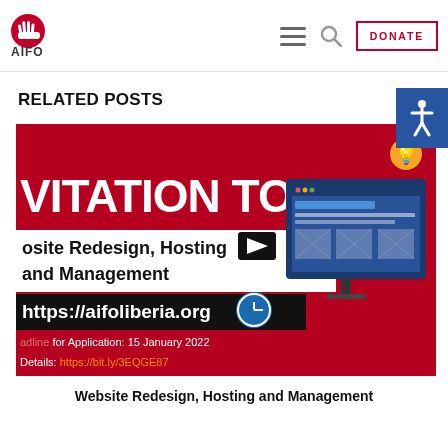AIFO | DONATE
RELATED POSTS
[Figure (screenshot): AIFO Liberia Invitation to Bid banner for Website Redesign, Hosting and Management. Red background with white bold text reading 'VITATION TO BID', 'osite Redesign, Hosting and Management', 'https://aifoliberia.org', 'adline for Application: 15 January 2022', 'Details: https://bit.ly/3EQGE87'. Right side shows a web design illustration with monitor and browser mockups.]
Website Redesign, Hosting and Management